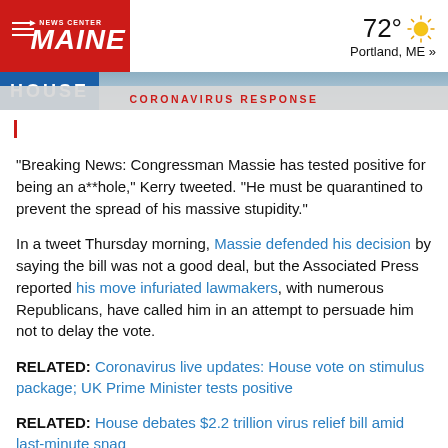NEWS CENTER MAINE | 72° Portland, ME »
[Figure (screenshot): News banner showing partial image of US House chamber with 'HOUSE' text and 'CORONAVIRUS RESPONSE' banner overlay in red]
"Breaking News: Congressman Massie has tested positive for being an a**hole," Kerry tweeted. "He must be quarantined to prevent the spread of his massive stupidity."
In a tweet Thursday morning, Massie defended his decision by saying the bill was not a good deal, but the Associated Press reported his move infuriated lawmakers, with numerous Republicans, have called him in an attempt to persuade him not to delay the vote.
RELATED: Coronavirus live updates: House vote on stimulus package; UK Prime Minister tests positive
RELATED: House debates $2.2 trillion virus relief bill amid last-minute snag